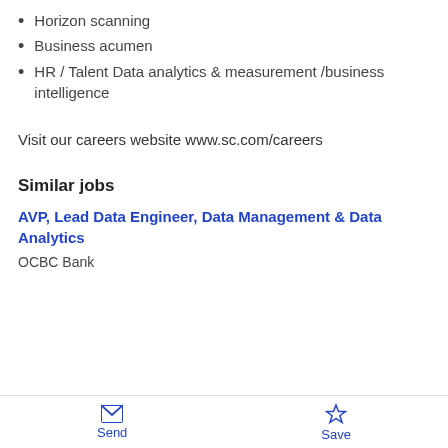Horizon scanning
Business acumen
HR / Talent Data analytics & measurement /business intelligence
Visit our careers website www.sc.com/careers
Similar jobs
AVP, Lead Data Engineer, Data Management & Data Analytics
OCBC Bank
Send   Save